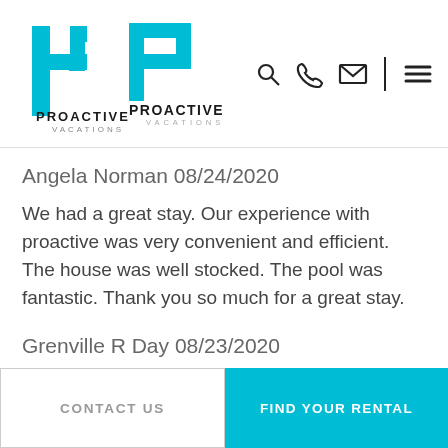[Figure (logo): Proactive Vacations logo — stylized P in cyan/light blue with company name]
Angela Norman 08/24/2020
We had a great stay. Our experience with proactive was very convenient and efficient. The house was well stocked. The pool was fantastic. Thank you so much for a great stay.
Grenville R Day 08/23/2020
5 stars, 10/10, everything about this house and experience was an absolute pleasure! The
CONTACT US
FIND YOUR RENTAL